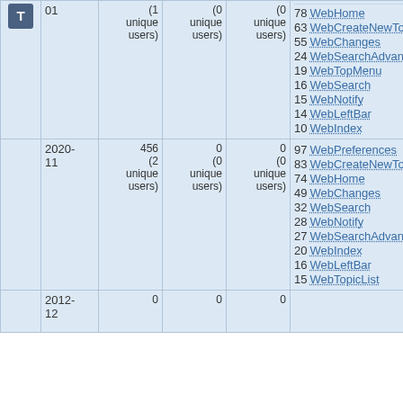|  | Date | Views | Saves | Uploads | Top Pages |
| --- | --- | --- | --- | --- | --- |
| T icon | 01 | (1 unique users) | (0 unique users) | (0 unique users) | 78 WebHome, 63 WebCreateNewTopic, 55 WebChanges, 24 WebSearchAdvanced, 19 WebTopMenu, 16 WebSearch, 15 WebNotify, 14 WebLeftBar, 10 WebIndex |
|  | 2020-11 | 456 (2 unique users) | 0 (0 unique users) | 0 (0 unique users) | 97 WebPreferences, 83 WebCreateNewTopic, 74 WebHome, 49 WebChanges, 32 WebSearch, 28 WebNotify, 27 WebSearchAdvanced, 20 WebIndex, 16 WebLeftBar, 15 WebTopicList |
|  | 2012-12 | 0 | 0 | 0 |  |